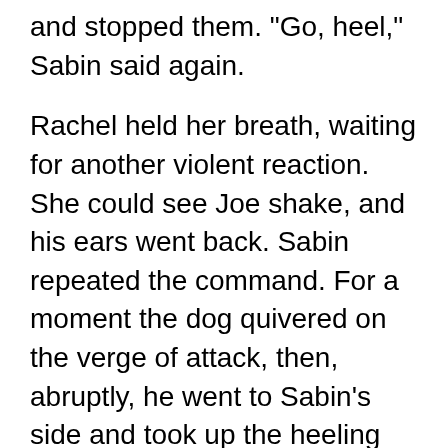and stopped them. "Go, heel," Sabin said again.
Rachel held her breath, waiting for another violent reaction. She could see Joe shake, and his ears went back. Sabin repeated the command. For a moment the dog quivered on the verge of attack, then, abruptly, he went to Sabin's side and took up the heeling position.
"Sit," Sabin said, and Joe sat.
"Good boy, good boy." Stiffly he moved his left arm to pat the dog's head. For a moment Joe's ears went back and he snarled softly, but he made no move to bite. Rachel slowly